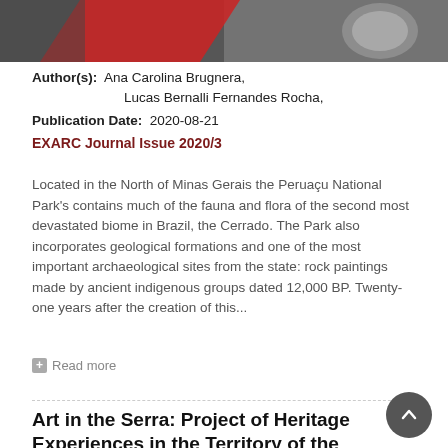[Figure (photo): A black and white photo with red overlay/stripe showing what appears to be archaeological or craft-related objects]
Author(s): Ana Carolina Brugnera, Lucas Bernalli Fernandes Rocha,
Publication Date: 2020-08-21
EXARC Journal Issue 2020/3
Located in the North of Minas Gerais the Peruaçu National Park's contains much of the fauna and flora of the second most devastated biome in Brazil, the Cerrado. The Park also incorporates geological formations and one of the most important archaeological sites from the state: rock paintings made by ancient indigenous groups dated 12,000 BP. Twenty-one years after the creation of this...
Read more
Art in the Serra: Project of Heritage Experiences in the Territory of the Serra Da Capivara National Park (BR)